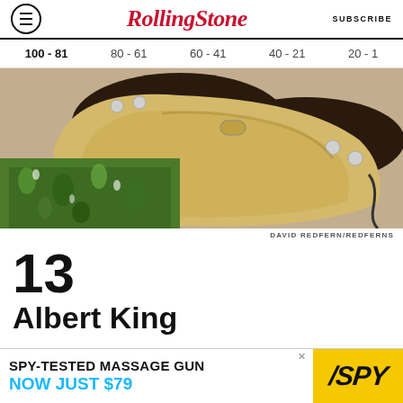Rolling Stone  SUBSCRIBE
100 - 81  80 - 61  60 - 41  40 - 21  20 - 1
[Figure (photo): Close-up photo of Albert King's hands holding a guitar, wearing a green floral shirt and a silver/gold bracelet, with guitar knobs visible]
DAVID REDFERN/REDFERNS
13
Albert King
[Figure (infographic): Advertisement banner: SPY-TESTED MASSAGE GUN NOW JUST $79, with SPY logo on yellow background]